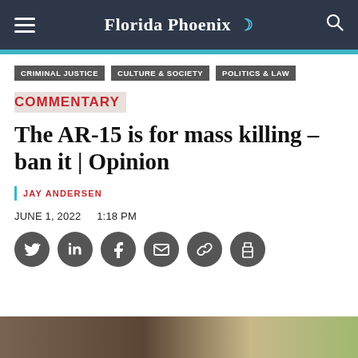Florida Phoenix
CRIMINAL JUSTICE
CULTURE & SOCIETY
POLITICS & LAW
COMMENTARY
The AR-15 is for mass killing – ban it | Opinion
JAY ANDERSEN
JUNE 1, 2022   1:18 PM
[Figure (other): Social media share icons: Twitter, LinkedIn, Facebook, Email, Link, Print]
[Figure (photo): Partial bottom image, landscape scene]